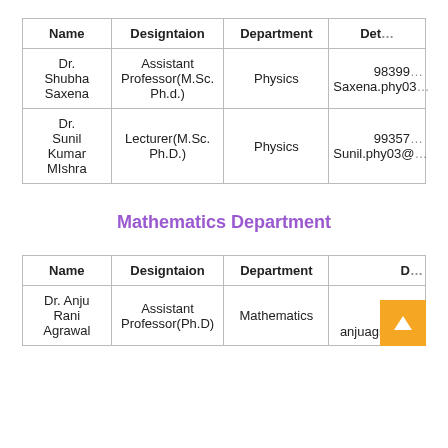| Name | Designtaion | Department | Deta… |
| --- | --- | --- | --- |
| Dr. Shubha Saxena | Assistant Professor(M.Sc. Ph.d.) | Physics | 98399… Saxena.phy03… |
| Dr. Sunil Kumar MIshra | Lecturer(M.Sc. Ph.D.) | Physics | 99357… Sunil.phy03@… |
Mathematics Department
| Name | Designtaion | Department | D… |
| --- | --- | --- | --- |
| Dr. Anju Rani Agrawal | Assistant Professor(Ph.D) | Mathematics | 9… anjuagrawal… |